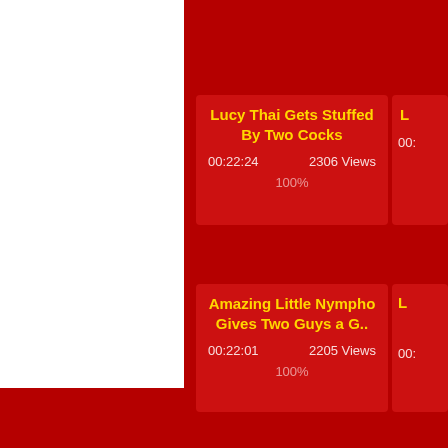[Figure (screenshot): White panel on left side of page, likely a video thumbnail placeholder]
Lucy Thai Gets Stuffed By Two Cocks
00:22:24   2306 Views
100%
L...
00:2...
Amazing Little Nympho Gives Two Guys a G..
00:22:01   2205 Views
100%
00:2...